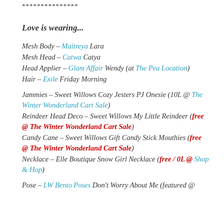***************
Love is wearing...
Mesh Body – Maitreya Lara
Mesh Head – Catwa Catya
Head Applier – Glam Affair Wendy (at The Pea Location)
Hair – Exile Friday Morning
Jammies – Sweet Willows Cozy Jesters PJ Onesie (10L @ The Winter Wonderland Cart Sale)
Reindeer Head Deco – Sweet Willows My Little Reindeer (free @ The Winter Wonderland Cart Sale)
Candy Cane – Sweet Willows Gift Candy Stick Mouthies (free @ The Winter Wonderland Cart Sale)
Necklace – Elle Boutique Snow Girl Necklace (free / 0L @ Shop & Hop)
Pose – LW Bento Poses Don't Worry About Me (featured @